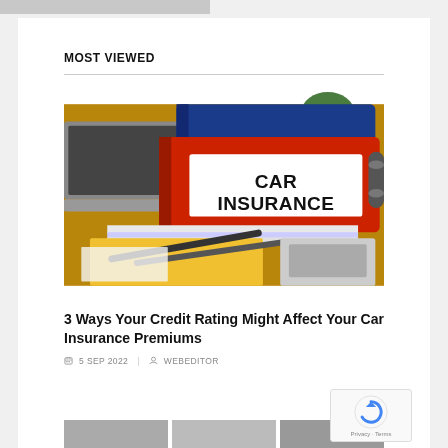MOST VIEWED
[Figure (photo): Red binder labeled CAR INSURANCE on a desk with a laptop, pens, papers, and other office items]
3 Ways Your Credit Rating Might Affect Your Car Insurance Premiums
5 SEP 2022 | WEBEDITOR